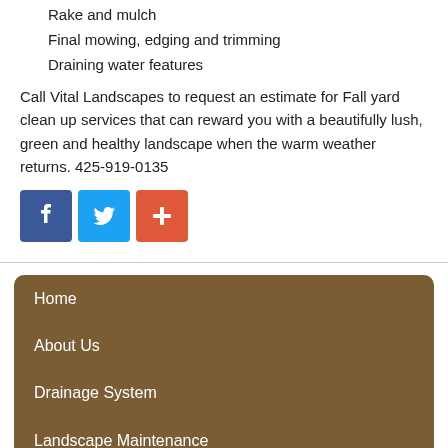Rake and mulch
Final mowing, edging and trimming
Draining water features
Call Vital Landscapes to request an estimate for Fall yard clean up services that can reward you with a beautifully lush, green and healthy landscape when the warm weather returns.  425-919-0135
[Figure (infographic): Three social media share buttons: Facebook (blue), Twitter (light blue), and a red/orange plus/share button]
Home
About Us
Drainage System
Landscape Maintenance
New Installation
Patio and Pavers